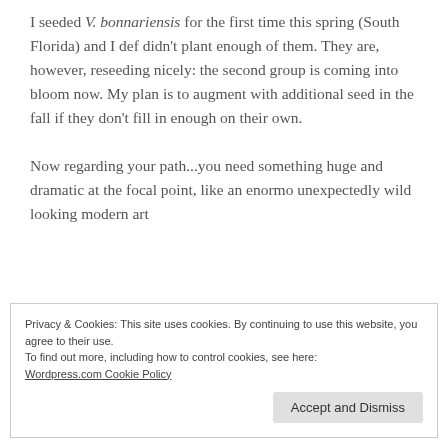I seeded V. bonnariensis for the first time this spring (South Florida) and I def didn't plant enough of them. They are, however, reseeding nicely: the second group is coming into bloom now. My plan is to augment with additional seed in the fall if they don't fill in enough on their own.
Now regarding your path...you need something huge and dramatic at the focal point, like an enormo unexpectedly wild looking modern art
Privacy & Cookies: This site uses cookies. By continuing to use this website, you agree to their use.
To find out more, including how to control cookies, see here:
Wordpress.com Cookie Policy
Accept and Dismiss